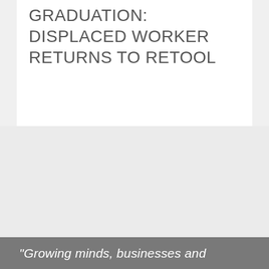GRADUATION: DISPLACED WORKER RETURNS TO RETOOL
"Growing minds, businesses and